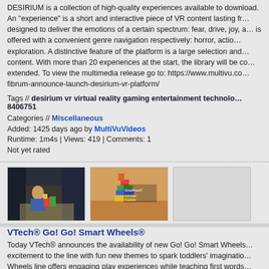DESIRIUM is a collection of high-quality experiences available to download. An "experience" is a short and interactive piece of VR content lasting from... designed to deliver the emotions of a certain spectrum: fear, drive, joy, a... is offered with a convenient genre navigation respectively: horror, action... exploration. A distinctive feature of the platform is a large selection and... content. With more than 20 experiences at the start, the library will be co... extended. To view the multimedia release go to: https://www.multivu.com/... fibrum-announce-launch-desirium-vr-platform/
Tags // desirium vr virtual reality gaming entertainment technolo... 8406751
Categories // Miscellaneous
Added: 1425 days ago by MultiVuVideos
Runtime: 1m4s | Views: 419 | Comments: 1
Not yet rated
[Figure (photo): Child playing with colorful toy blocks/constructions, dark background]
[Figure (photo): Colorful stacked toy construction on wooden floor]
[Figure (photo): Placeholder/blank gray thumbnail]
VTech® Go! Go! Smart Wheels®
Today VTech® announces the availability of new Go! Go! Smart Wheels... excitement to the line with fun new themes to spark toddlers' imaginatio... Wheels line offers engaging play experiences while teaching first words... features innovative SmartPoint® technology that truly brings the toys to... Go! Smart Wheels line because it's fun; parents love that it's smart and... collection there's even more to love, with exciting themes that will take k... adventures," said Andy Keimach, President, VTech Electronics North Am... tower that allows kids to chase a getaway car, to a multi-level, interactiv...